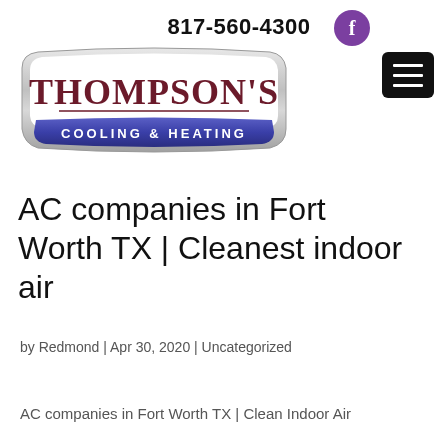817-560-4300
[Figure (logo): Thompson's Cooling & Heating logo — chrome badge shape with dark red serif text 'Thompson's' and blue banner with white text 'COOLING & HEATING']
AC companies in Fort Worth TX | Cleanest indoor air
by Redmond | Apr 30, 2020 | Uncategorized
AC companies in Fort Worth TX | Clean Indoor Air